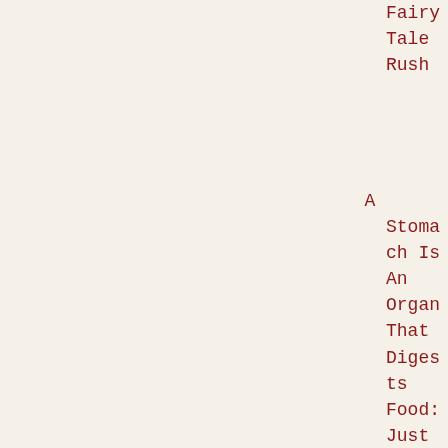Fairy Tale Rush
A Stomach Is An Organ That Digests Food: Just Sayin'
Review of How